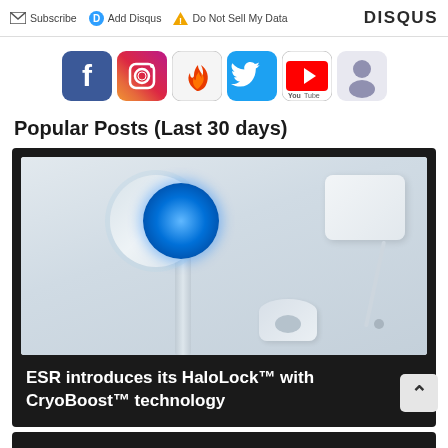Subscribe   Add Disqus   Do Not Sell My Data   DISQUS
[Figure (infographic): Row of six social media app icons: Facebook, Instagram, Flattr/fire, Twitter, YouTube, and a podcast/person icon]
Popular Posts (Last 30 days)
[Figure (photo): Product image showing ESR HaloLock charging stand with blue LED ring, power adapter, and charging base on white background]
ESR introduces its HaloLock™ with CryoBoost™ technology